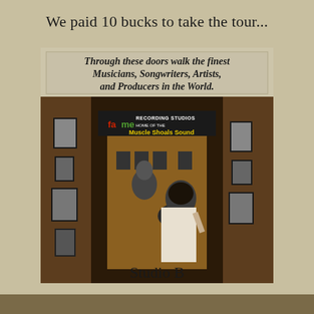We paid 10 bucks to take the tour...
[Figure (photo): Photo of the entrance to FAME Recording Studios / Muscle Shoals Sound. A sign above the doorway reads in cursive script: 'Through these doors walk the finest Musicians, Songwriters, Artists, and Producers in the World.' The doorway opens into a corridor with framed photos on paneled walls. People are visible inside taking the tour.]
Studio B